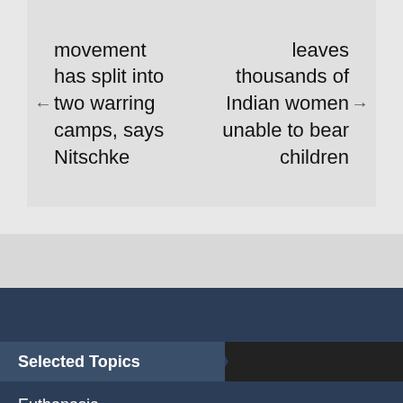movement has split into two warring camps, says Nitschke
leaves thousands of Indian women unable to bear children
Selected Topics
Euthanasia
Covid-19